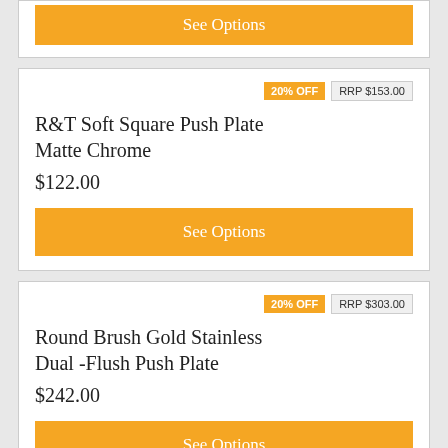[Figure (screenshot): Top partial product card showing 'See Options' yellow button at the top of the page]
20% OFF  RRP $153.00
R&T Soft Square Push Plate Matte Chrome
$122.00
See Options
20% OFF  RRP $303.00
Round Brush Gold Stainless Dual -Flush Push Plate
$242.00
See Options
20% OFF  RRP $303.00